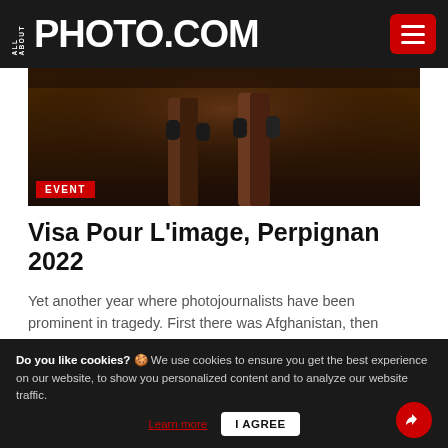ALL ABOUT PHOTO.COM
[Figure (photo): Dark moody photograph showing lower bodies/legs of figures in warm brown/red tones against a dark background]
EVENT
Visa Pour L'image, Perpignan 2022
Yet another year where photojournalists have been prominent in tragedy. First there was Afghanistan, then Ukraine, not to mention so many other theaters of war, violence and atrocities standing as clear and often cru…
Read More
Do you like cookies? 🍪 We use cookies to ensure you get the best experience on our website, to show you personalized content and to analyze our website traffic. Learn more | I AGREE